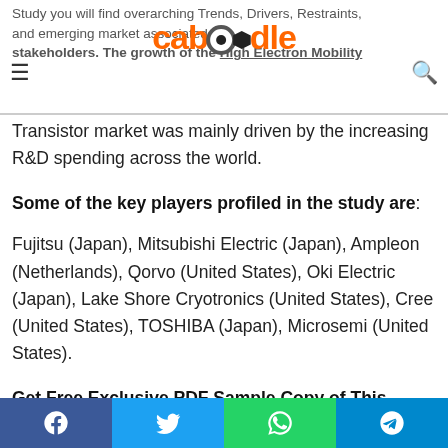Study you will find overarching Trends, Drivers, Restraints, and emerging market associated stakeholders. The growth of the High Electron Mobility Transistor market was mainly driven by the increasing R&D spending across the world.
Transistor market was mainly driven by the increasing R&D spending across the world.
Some of the key players profiled in the study are:
Fujitsu (Japan), Mitsubishi Electric (Japan), Ampleon (Netherlands), Qorvo (United States), Oki Electric (Japan), Lake Shore Cryotronics (United States), Cree (United States), TOSHIBA (Japan), Microsemi (United States).
Get Free Exclusive PDF Sample Copy of This Research @ https://www.advancemarketanalytics.com/sample-report/10209-global-high-electron-mobility-transistor-
Facebook | Twitter | WhatsApp | Telegram